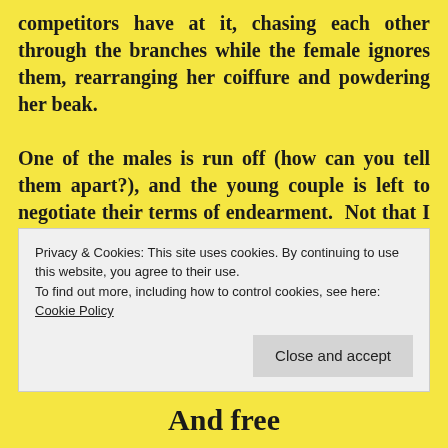competitors have at it, chasing each other through the branches while the female ignores them, rearranging her coiffure and powdering her beak.

One of the males is run off (how can you tell them apart?), and the young couple is left to negotiate their terms of endearment. Not that I care; good grief, it's not like we need more starlings in the world. Continue reading
Privacy & Cookies: This site uses cookies. By continuing to use this website, you agree to their use.
To find out more, including how to control cookies, see here: Cookie Policy
Close and accept
And free